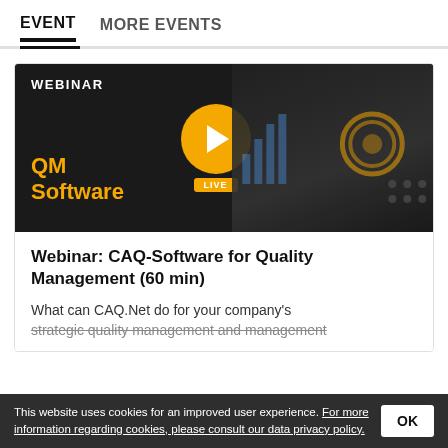EVENT   MORE EVENTS
[Figure (screenshot): Webinar banner image showing 'WEBINAR' label, 'QM Software' in gold text, a gold play button with LIVE badge, and a background with laptop/hand and technical graphics on dark background]
Webinar: CAQ-Software for Quality Management (60 min)
What can CAQ.Net do for your company's strategic quality management and management
This website uses cookies for an improved user experience. For more information regarding cookies, please consult our data privacy policy.